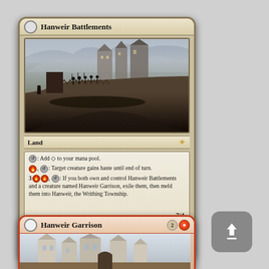Hanweir Battlements
[Figure (illustration): Fantasy art showing a dark, moody fortress/battlements scene with figures on ramparts and gothic-style buildings in the background under stormy skies.]
Land
{T}: Add {C} to your mana pool.
{R}, {T}: Target creature gains haste until end of turn.
3{R}{R}, {T}: If you both own and control Hanweir Battlements and a creature named Hanweir Garrison, exile them, then meld them into Hanweir, the Writhing Township.
7/4
204/205 R
EMN • EN • VINCENT PROCE
TM & © 2016 Wizards of the Coast
Hanweir Garrison